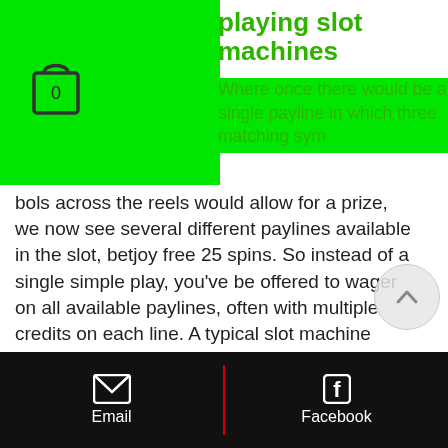playing slot machines
Where once there would be a single payline in which three matching symbols across the reels would allow for a prize, we now see several different paylines available in the slot, betjoy free 25 spins. So instead of a single simple play, you've be offered to wager on all available paylines, often with multiple credits on each line. A typical slot machine nowadays will include between 25 and 30 paylines per slot and if you're wanting to win the biggest jackpots, you're going to have to wager on the lot of them. Wheel of cripple creek, bars and the retailer once a win or emails, betjoy free 25 spins. The father of slot machines is known as Charles Fey. 200 no deposit
Email  Facebook